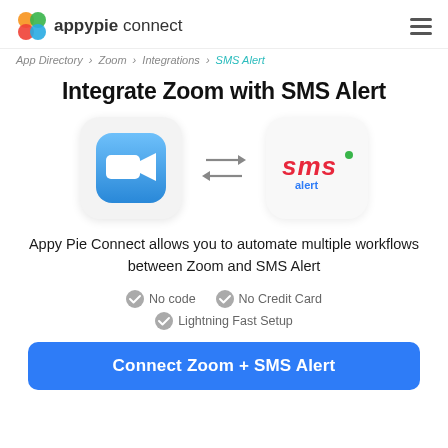appypie connect
App Directory > Zoom > Integrations > SMS Alert
Integrate Zoom with SMS Alert
[Figure (illustration): Zoom app icon and SMS Alert app icon with bidirectional arrows between them]
Appy Pie Connect allows you to automate multiple workflows between Zoom and SMS Alert
No code
No Credit Card
Lightning Fast Setup
Connect Zoom + SMS Alert